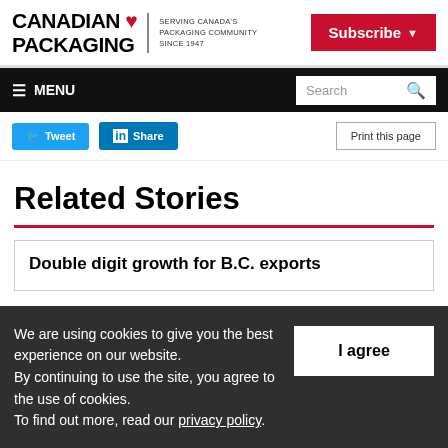Canadian Packaging — Serving Canada's Packaging Community Since 1947
Subscribe | MENU | Search
Tweet | Share | Print this page
Related Stories
Double digit growth for B.C. exports
We are using cookies to give you the best experience on our website. By continuing to use the site, you agree to the use of cookies. To find out more, read our privacy policy.